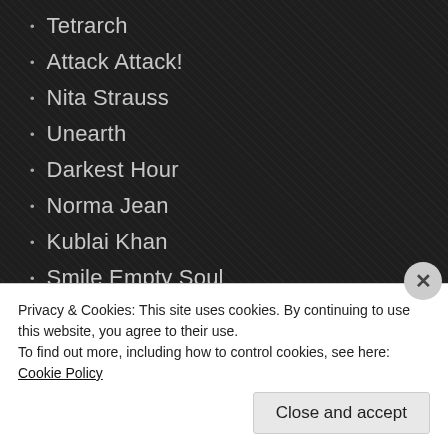Tetrarch
Attack Attack!
Nita Strauss
Unearth
Darkest Hour
Norma Jean
Kublai Khan
Smile Empty Soul
The Word Alive
Silent Planet
Crowbar
Otherwise
Twiztid
Privacy & Cookies: This site uses cookies. By continuing to use this website, you agree to their use.
To find out more, including how to control cookies, see here: Cookie Policy
Close and accept